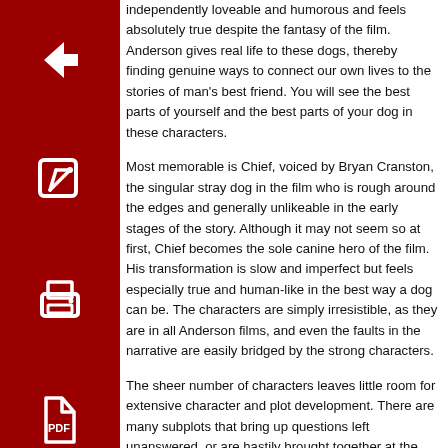[Figure (other): Four red square icon buttons stacked vertically on the left: back arrow, edit/pencil, print, and PDF file icons]
independently loveable and humorous and feels absolutely true despite the fantasy of the film. Anderson gives real life to these dogs, thereby finding genuine ways to connect our own lives to the stories of man's best friend. You will see the best parts of yourself and the best parts of your dog in these characters.

Most memorable is Chief, voiced by Bryan Cranston, the singular stray dog in the film who is rough around the edges and generally unlikeable in the early stages of the story. Although it may not seem so at first, Chief becomes the sole canine hero of the film. His transformation is slow and imperfect but feels especially true and human-like in the best way a dog can be. The characters are simply irresistible, as they are in all Anderson films, and even the faults in the narrative are easily bridged by the strong characters.

The sheer number of characters leaves little room for extensive character and plot development. There are many subplots that bring up questions left unanswered, or are hastily brought together at the end of the movie. At 101 minutes the film feels long enough, but it is still clear that Anderson needed more time in order to tell the story he had envisioned. Some of the human characters in the film feel slightly one-dimensional. The human characters speak in Japanese without subtitles, while the dogs speak in English. There is a handy interpreter for very complex moments involving humans, voiced by Frances McDormand, but